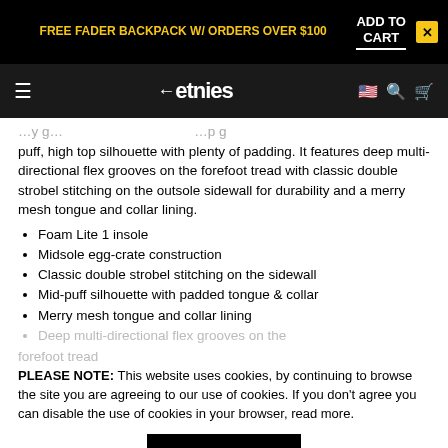FREE FADER BACKPACK W/ ORDERS OVER $100 | ADD TO CART
etnies
puff, high top silhouette with plenty of padding. It features deep multi-directional flex grooves on the forefoot tread with classic double strobel stitching on the outsole sidewall for durability and a merry mesh tongue and collar lining.
Foam Lite 1 insole
Midsole egg-crate construction
Classic double strobel stitching on the sidewall
Mid-puff silhouette with padded tongue & collar
Merry mesh tongue and collar lining
Deep multi-directional flex grooves on the forefoot tread
PLEASE NOTE: This website uses cookies, by continuing to browse the site you are agreeing to our use of cookies. If you don't agree you can disable the use of cookies in your browser, read more.
I agree
YOU MAY ALSO LIKE